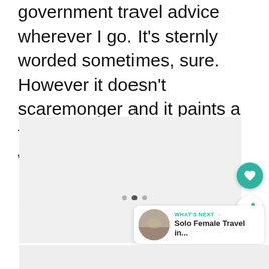government travel advice wherever I go. It's sternly worded sometimes, sure. However it doesn't scaremonger and it paints a fairly accurate picture of what to expect, as well as listing recent events, processes for visas, etc.
[Figure (photo): A large light gray placeholder image block representing an embedded photo or carousel image in a travel blog article.]
WHAT'S NEXT → Solo Female Travel in...